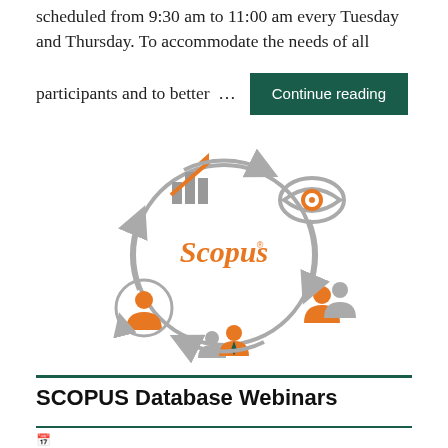scheduled from 9:30 am to 11:00 am every Tuesday and Thursday. To accommodate the needs of all participants and to better …
[Figure (infographic): Scopus circular infographic with four icons: analytics/bar chart with arrow top-left, eye/monitor top-right, two-person group bottom-right, single person bottom-left, all connected by a circular arrow, with 'Scopus®' text in orange in the center]
SCOPUS Database Webinars